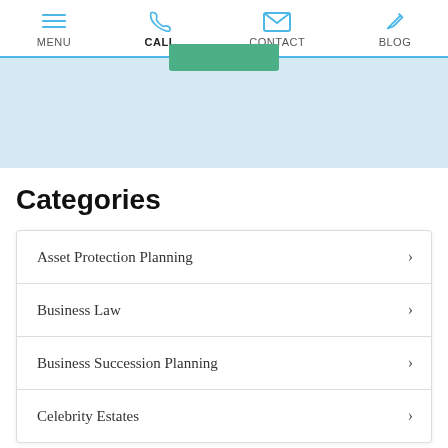MENU  CALL  CONTACT  BLOG
[Figure (screenshot): Light blue banner with a green button at the top center]
Categories
Asset Protection Planning
Business Law
Business Succession Planning
Celebrity Estates